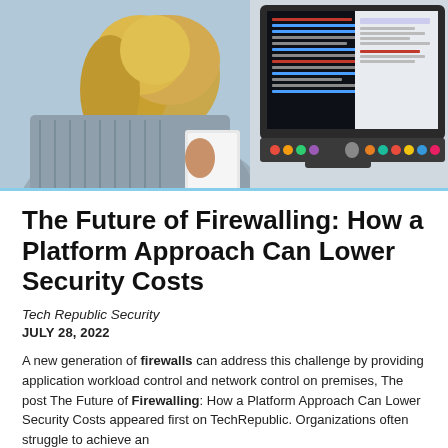[Figure (photo): Person with blonde hair seen from behind, sitting at a desk and looking at an Apple iMac computer screen showing code or text, with colorful stickers on the monitor bezel. Office environment with light background.]
The Future of Firewalling: How a Platform Approach Can Lower Security Costs
Tech Republic Security
JULY 28, 2022
A new generation of firewalls can address this challenge by providing application workload control and network control on premises, The post The Future of Firewalling: How a Platform Approach Can Lower Security Costs appeared first on TechRepublic. Organizations often struggle to achieve an